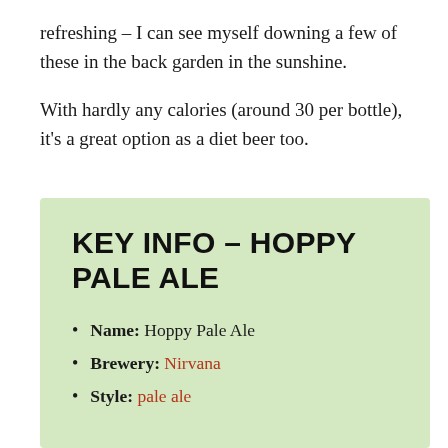refreshing – I can see myself downing a few of these in the back garden in the sunshine.
With hardly any calories (around 30 per bottle), it's a great option as a diet beer too.
KEY INFO – HOPPY PALE ALE
Name: Hoppy Pale Ale
Brewery: Nirvana
Style: pale ale